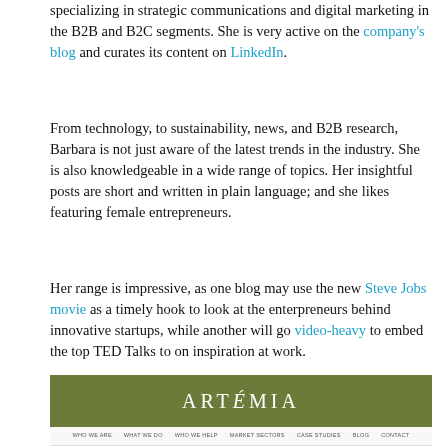specializing in strategic communications and digital marketing in the B2B and B2C segments. She is very active on the company's blog and curates its content on LinkedIn.
From technology, to sustainability, news, and B2B research, Barbara is not just aware of the latest trends in the industry. She is also knowledgeable in a wide range of topics. Her insightful posts are short and written in plain language; and she likes featuring female entrepreneurs.
Her range is impressive, as one blog may use the new Steve Jobs movie as a timely hook to look at the enterpreneurs behind innovative startups, while another will go video-heavy to embed the top TED Talks to on inspiration at work.
[Figure (screenshot): Screenshot of the Artémia website showing the green header logo, navigation bar with WHO WE ARE, WHAT WE DO, WHO WE HELP, MARKET SECTORS, CASE STUDIES, BLOG, CONTACT, two article thumbnails (B2B MOBILE MARKETING TRENDS IN 2016, WHAT APPS TELL US ABOUT DIGITAL MARKETING SUCCESS), and Blog Categories sidebar listing ARTEMIA, CEO'S BLOG, CLEANTECH IT, FINANCE, HEALTHCARE, HIGH TECH, UTILITIES, VIDEOS.]